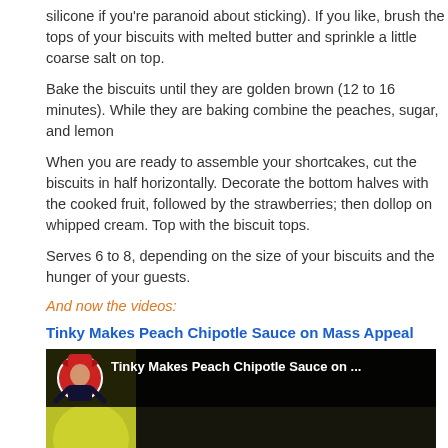silicone if you’re paranoid about sticking). If you like, brush the tops of your biscuits with melted butter and sprinkle a little coarse salt on top.
Bake the biscuits until they are golden brown (12 to 16 minutes). While they are baking combine the peaches, sugar, and lemon
When you are ready to assemble your shortcakes, cut the biscuits in half horizontally. Decorate the bottom halves with the cooked fruit, followed by the strawberries; then dollop on whipped cream. Top with the biscuit tops.
Serves 6 to 8, depending on the size of your biscuits and the hunger of your guests.
And now the videos:
Tinky Makes Peach Chipotle Sauce on Mass Appeal
[Figure (screenshot): YouTube video thumbnail showing 'Tinky Makes Peach Chipotle Sauce on ...' with a woman in red hat avatar, yellow-green background on left, dark cooking scene on right, with YouTube red play button in center]